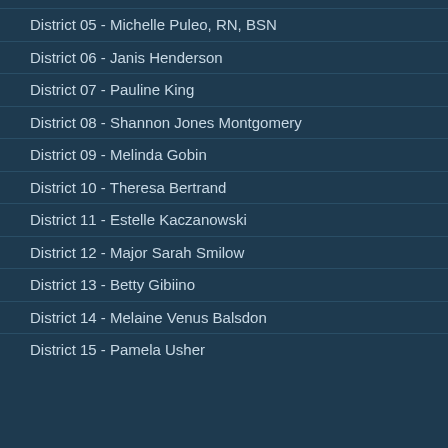District 05 - Michelle Puleo, RN, BSN
District 06 - Janis Henderson
District 07 - Pauline King
District 08 - Shannon Jones Montgomery
District 09 - Melinda Gobin
District 10 - Theresa Bertrand
District 11 - Estelle Kaczanowski
District 12 - Major Sarah Smilow
District 13 - Betty Gibiino
District 14 - Melaine Venus Balsdon
District 15 - Pamela Usher